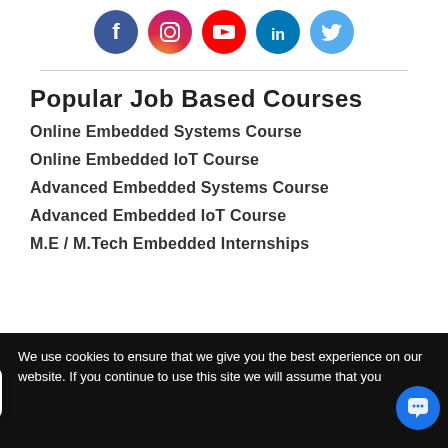[Figure (illustration): Row of social media icons: Facebook, Instagram, YouTube, LinkedIn, Twitter]
Popular Job Based Courses
Online Embedded Systems Course
Online Embedded IoT Course
Advanced Embedded Systems Course
Advanced Embedded IoT Course
M.E / M.Tech Embedded Internships
We use cookies to ensure that we give you the best experience on our website. If you continue to use this site we will assume that you are happy with it.
[Figure (screenshot): Chat widget with 'We're Online! How may I help you today?' message bubble and blue chat button]